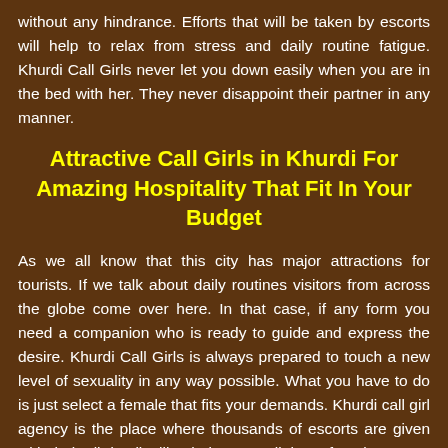without any hindrance. Efforts that will be taken by escorts will help to relax from stress and daily routine fatigue. Khurdi Call Girls never let you down easily when you are in the bed with her. They never disappoint their partner in any manner.
Attractive Call Girls in Khurdi For Amazing Hospitality That Fit In Your Budget
As we all know that this city has major attractions for tourists. If we talk about daily routines visitors from across the globe come over here. In that case, if any form you need a companion who is ready to guide and express the desire. Khurdi Call Girls is always prepared to touch a new level of sexuality in any way possible. What you have to do is just select a female that fits your demands. Khurdi call girl agency is the place where thousands of escorts are given with their all details, like their rates. All these female escorts are working here independently without any pressure. After